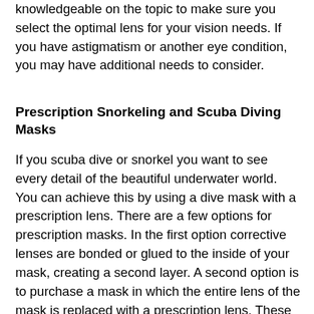knowledgeable on the topic to make sure you select the optimal lens for your vision needs. If you have astigmatism or another eye condition, you may have additional needs to consider.
Prescription Snorkeling and Scuba Diving Masks
If you scuba dive or snorkel you want to see every detail of the beautiful underwater world. You can achieve this by using a dive mask with a prescription lens. There are a few options for prescription masks. In the first option corrective lenses are bonded or glued to the inside of your mask, creating a second layer. A second option is to purchase a mask in which the entire lens of the mask is replaced with a prescription lens. These can be premade or custom made lenses. There are also now masks that are